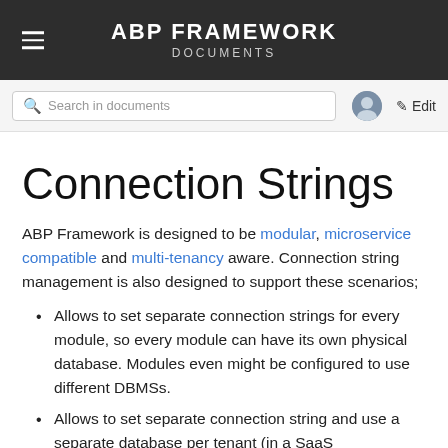ABP FRAMEWORK DOCUMENTS
Connection Strings
ABP Framework is designed to be modular, microservice compatible and multi-tenancy aware. Connection string management is also designed to support these scenarios;
Allows to set separate connection strings for every module, so every module can have its own physical database. Modules even might be configured to use different DBMSs.
Allows to set separate connection string and use a separate database per tenant (in a SaaS